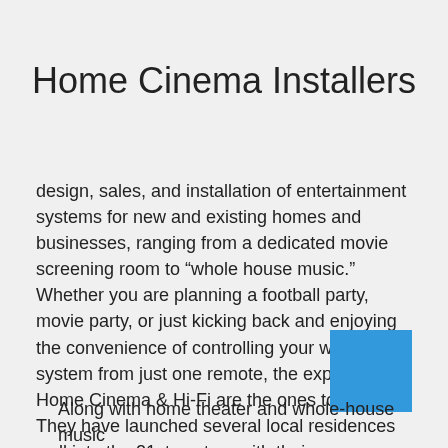Home Cinema Installers
design, sales, and installation of entertainment systems for new and existing homes and businesses, ranging from a dedicated movie screening room to “whole house music.” Whether you are planning a football party, movie party, or just kicking back and enjoying the convenience of controlling your whole system from just one remote, the experts at Home Cinema & Hi-Fi are the ones to call. They have launched several local residences well into the 21st century with their sophisticated, high-quality products and services.
Along with home theater and whole-house music